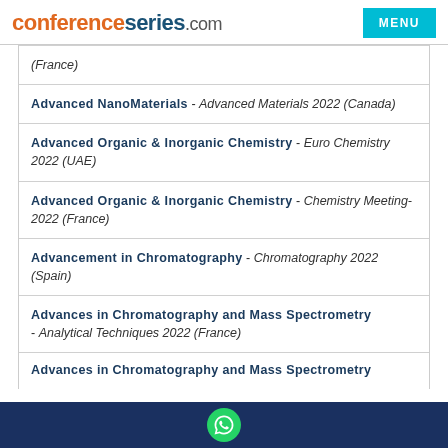conferenceseries.com | MENU
(France)
Advanced NanoMaterials - Advanced Materials 2022 (Canada)
Advanced Organic & Inorganic Chemistry - Euro Chemistry 2022 (UAE)
Advanced Organic & Inorganic Chemistry - Chemistry Meeting-2022 (France)
Advancement in Chromatography - Chromatography 2022 (Spain)
Advances in Chromatography and Mass Spectrometry - Analytical Techniques 2022 (France)
Advances in Chromatography and Mass Spectrometry (partial)